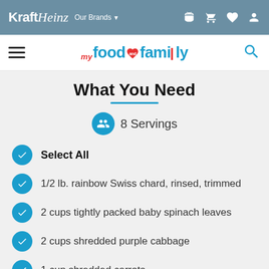KraftHeinz Our Brands
my food and family
What You Need
8 Servings
Select All
1/2 lb. rainbow Swiss chard, rinsed, trimmed
2 cups tightly packed baby spinach leaves
2 cups shredded purple cabbage
1 cup shredded carrots
1 can (16 oz.) chickpeas (garbanzo beans), rinsed